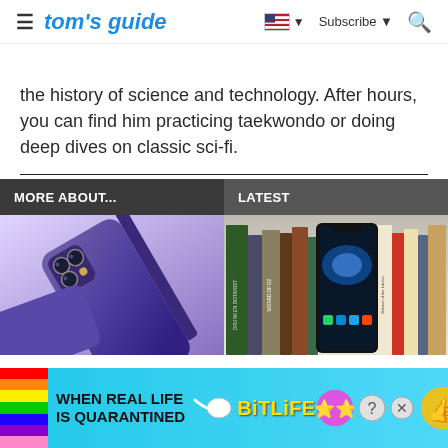tom's guide | Subscribe | Search
the history of science and technology. After hours, you can find him practicing taekwondo or doing deep dives on classic sci-fi.
MORE ABOUT... | LATEST
[Figure (photo): Purple iPhone 14 Pro shown from the back and side, showing triple camera system on a purple background]
[Figure (photo): Samsung Galaxy S22 Ultra smartphone leaning against a row of books]
[Figure (infographic): BitLife advertisement banner: 'WHEN REAL LIFE IS QUARANTINED' with rainbow strip, sperm icon, BitLife logo in yellow, and emoji icons]